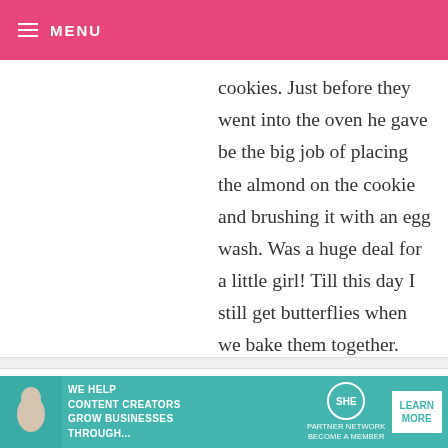MENU
cookies. Just before they went into the oven he gave be the big job of placing the almond on the cookie and brushing it with an egg wash. Was a huge deal for a little girl! Till this day I still get butterflies when we bake them together.
SARA — SEPTEMBER 24, 2012 @ 12:37 AM   REPLY
Making hungarian kiffles with my dad
[Figure (other): Advertisement banner for SHE Partner Network: We help content creators grow businesses through...]